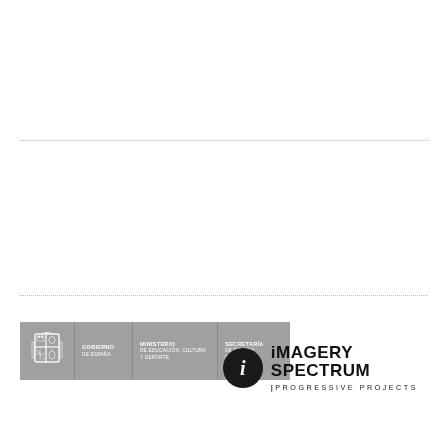[Figure (logo): Spanish Government coat of arms and ministry logos: Gobierno de España, Ministerio de Educación Cultura y Deporte, Secretaría de Estado de Cultura — grey bar logo]
[Figure (logo): iMAGERY SPECTRUM | PROGRESSIVE PROJECTS logo with black circle containing italic i]